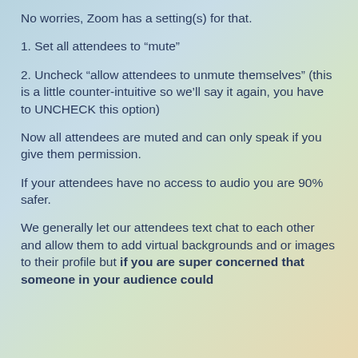No worries, Zoom has a setting(s) for that.
1. Set all attendees to “mute”
2. Uncheck “allow attendees to unmute themselves” (this is a little counter-intuitive so we’ll say it again, you have to UNCHECK this option)
Now all attendees are muted and can only speak if you give them permission.
If your attendees have no access to audio you are 90% safer.
We generally let our attendees text chat to each other and allow them to add virtual backgrounds and or images to their profile but if you are super concerned that someone in your audience could